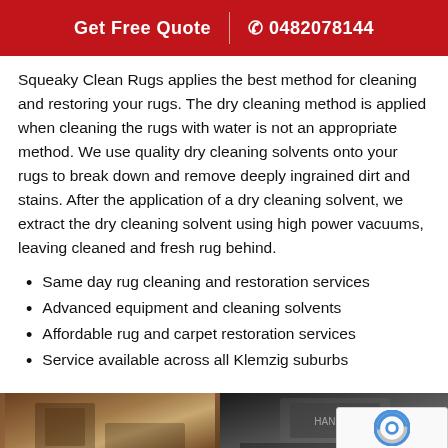Get Free Quote | 0482078144
Squeaky Clean Rugs applies the best method for cleaning and restoring your rugs. The dry cleaning method is applied when cleaning the rugs with water is not an appropriate method. We use quality dry cleaning solvents onto your rugs to break down and remove deeply ingrained dirt and stains. After the application of a dry cleaning solvent, we extract the dry cleaning solvent using high power vacuums, leaving cleaned and fresh rug behind.
Same day rug cleaning and restoration services
Advanced equipment and cleaning solvents
Affordable rug and carpet restoration services
Service available across all Klemzig suburbs
[Figure (photo): Two photos of rug cleaning service — left shows a room with rugs and furniture, right shows cleaning equipment being used]